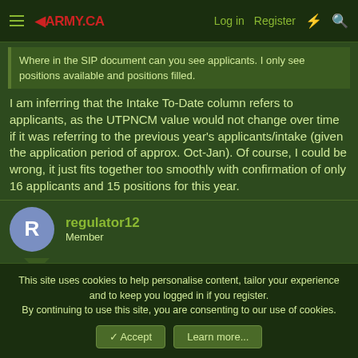ARMY.CA | Log in | Register
Where in the SIP document can you see applicants. I only see positions available and positions filled.
I am inferring that the Intake To-Date column refers to applicants, as the UTPNCM value would not change over time if it was referring to the previous year's applicants/intake (given the application period of approx. Oct-Jan). Of course, I could be wrong, it just fits together too smoothly with confirmation of only 16 applicants and 15 positions for this year.
regulator12
Member
This site uses cookies to help personalise content, tailor your experience and to keep you logged in if you register.
By continuing to use this site, you are consenting to our use of cookies.